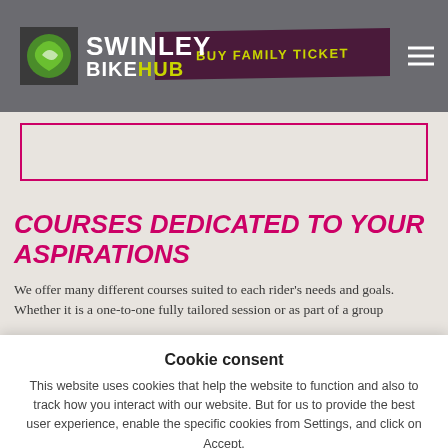SWINLEY BIKEHUB — BUY FAMILY TICKET
COURSES DEDICATED TO YOUR ASPIRATIONS
We offer many different courses suited to each rider's needs and goals. Whether it is a one-to-one fully tailored session or as part of a group
Cookie consent
This website uses cookies that help the website to function and also to track how you interact with our website. But for us to provide the best user experience, enable the specific cookies from Settings, and click on Accept.
Preferences | Reject All | Accept All